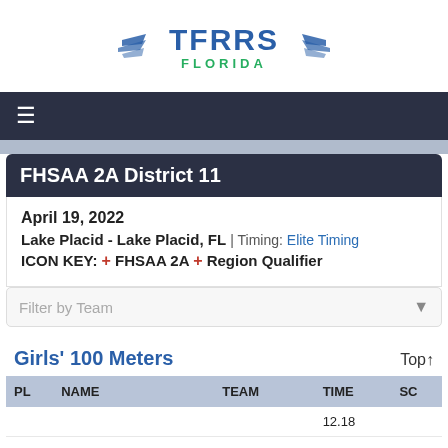[Figure (logo): TFRRS Florida logo with wing icons on either side, blue text TFRRS and green text FLORIDA]
FHSAA 2A District 11
April 19, 2022
Lake Placid - Lake Placid, FL | Timing: Elite Timing
ICON KEY: + FHSAA 2A + Region Qualifier
Filter by Team
Girls' 100 Meters
| PL | NAME | TEAM | TIME | SC |
| --- | --- | --- | --- | --- |
|  |  |  | 12.18 |  |